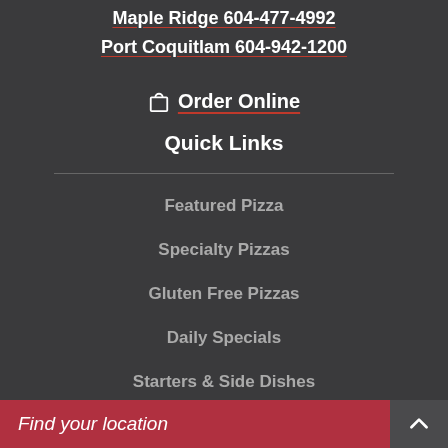Maple Ridge 604-477-4992
Port Coquitlam 604-942-1200
Order Online
Quick Links
Featured Pizza
Specialty Pizzas
Gluten Free Pizzas
Daily Specials
Starters & Side Dishes
Find your location